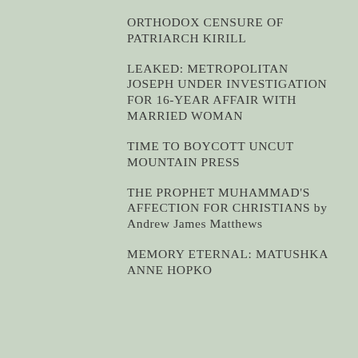ORTHODOX CENSURE OF PATRIARCH KIRILL
LEAKED: METROPOLITAN JOSEPH UNDER INVESTIGATION FOR 16-YEAR AFFAIR WITH MARRIED WOMAN
TIME TO BOYCOTT UNCUT MOUNTAIN PRESS
THE PROPHET MUHAMMAD'S AFFECTION FOR CHRISTIANS by Andrew James Matthews
MEMORY ETERNAL: MATUSHKA ANNE HOPKO